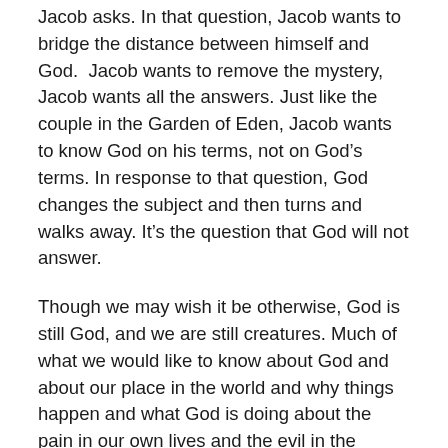Jacob asks. In that question, Jacob wants to bridge the distance between himself and God. Jacob wants to remove the mystery, Jacob wants all the answers. Just like the couple in the Garden of Eden, Jacob wants to know God on his terms, not on God's terms. In response to that question, God changes the subject and then turns and walks away. It's the question that God will not answer.
Though we may wish it be otherwise, God is still God, and we are still creatures. Much of what we would like to know about God and about our place in the world and why things happen and what God is doing about the pain in our own lives and the evil in the world, lies behind the veil. Not every question will be answered. Not every struggle will be resolved. Not every grief will be healed. Not every problem will be solved. Most of the answers to the questions that begin with “Why. . .” will not be answered this side of